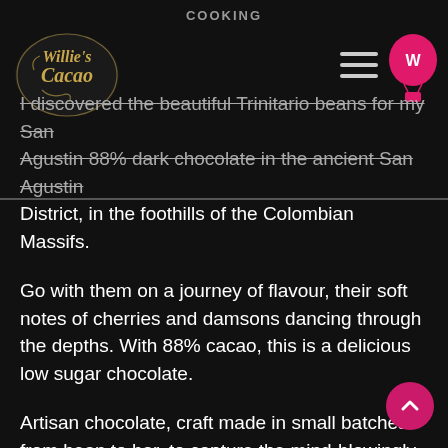COOKING
[Figure (logo): Willie's Cacao logo in gold script on dark background]
[Figure (logo): Pink hot air balloon icon with W monogram]
I discovered the beautiful Trinitario beans for my San Agustin 88% dark chocolate in the ancient San Agustin District, in the foothills of the Colombian Massifs.
Go with them on a journey of flavour, their soft notes of cherries and damsons dancing through the depths. With 88% cacao, this is a delicious low sugar chocolate.
Artisan chocolate, craft made in small batches from bean to bar, to capture the mind-blowingly different flavours of the world's great, single estate cacaos.
This takes up to 21 days at low temperatures, compared to industrial chocolate which is made in a few hours.
The chocolate is 100% natural, containing simply cacao, raw cane sugar and natural cocoa butter - no vanilla or soya lecithin to hide the beautiful flavour notes of the b...